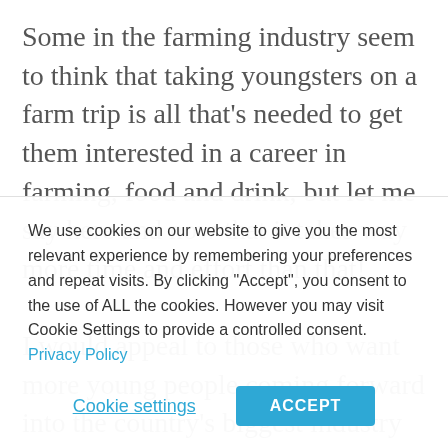Some in the farming industry seem to think that taking youngsters on a farm trip is all that's needed to get them interested in a career in farming, food and drink, but let me say here and now that it takes way more time and effort than that!

I would appeal to those who want more young people coming forward into the country's biggest industry to tell their
We use cookies on our website to give you the most relevant experience by remembering your preferences and repeat visits. By clicking "Accept", you consent to the use of ALL the cookies. However you may visit Cookie Settings to provide a controlled consent. Privacy Policy
Cookie settings | ACCEPT